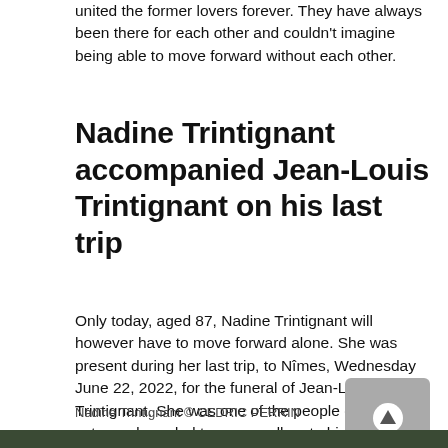united the former lovers forever. They have always been there for each other and couldn't imagine being able to move forward without each other.
Nadine Trintignant accompanied Jean-Louis Trintignant on his last trip
Only today, aged 87, Nadine Trintignant will however have to move forward alone. She was present during her last trip, to Nîmes, Wednesday June 22, 2022, for the funeral of Jean-Louis Trintignant. She was one of the people close to the actor and needed to say goodbye to him.
Nadine Trintignant © CEDRIC PERRIN
[Figure (photo): Bottom portion of a photo showing a person outdoors with green foliage in background]